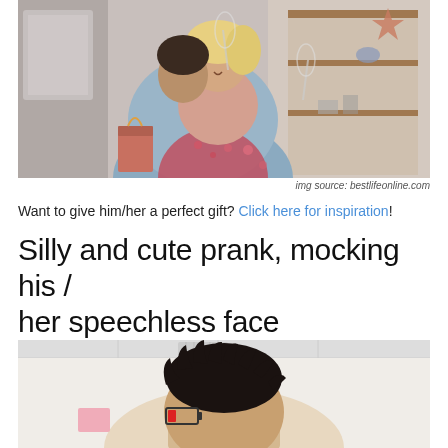[Figure (photo): Two people hugging and toasting with champagne glasses, smiling, indoors with shelves and decorations in background.]
img source: bestlifeonline.com
Want to give him/her a perfect gift? Click here for inspiration!
Silly and cute prank, mocking his / her speechless face
[Figure (photo): A man seen from behind with spiky dark hair, with a low-battery icon drawn/tattooed above his ear, standing in what appears to be a public space.]